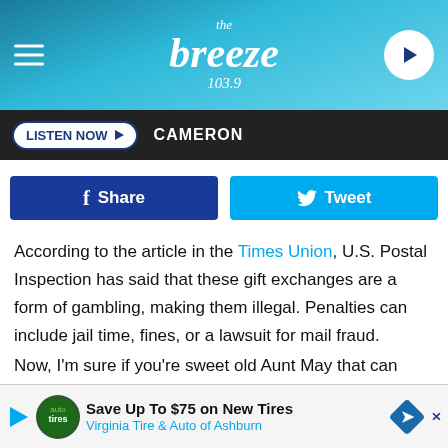[Figure (screenshot): The Breeze 103.9 radio station header with logo and hamburger menu]
LISTEN NOW ▶ CAMERON
[Figure (screenshot): Facebook Share and Twitter Tweet social buttons]
According to the article in the Times Union, U.S. Postal Inspection has said that these gift exchanges are a form of gambling, making them illegal. Penalties can include jail time, fines, or a lawsuit for mail fraud.
Now, I'm sure if you're sweet old Aunt May that can barely use the computer sends you an invite for a Secret Santa exchange, she's not an internet criminal mastermind. She's just caught up in the idea of getting 36 gifts for the price of one. U...s.
[Figure (screenshot): Advertisement banner: Save Up To $75 on New Tires - Virginia Tire & Auto of Ashburn]